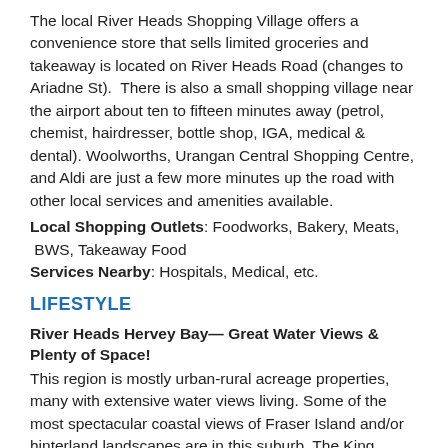The local River Heads Shopping Village offers a convenience store that sells limited groceries and takeaway is located on River Heads Road (changes to Ariadne St).  There is also a small shopping village near the airport about ten to fifteen minutes away (petrol, chemist, hairdresser, bottle shop, IGA, medical & dental). Woolworths, Urangan Central Shopping Centre, and Aldi are just a few more minutes up the road with other local services and amenities available.
Local Shopping Outlets: Foodworks, Bakery, Meats, BWS, Takeaway Food
Services Nearby: Hospitals, Medical, etc.
LIFESTYLE
River Heads Hervey Bay— Great Water Views & Plenty of Space!
This region is mostly urban-rural acreage properties, many with extensive water views living. Some of the most spectacular coastal views of Fraser Island and/or hinterland landscapes are in this suburb. The King Fisher Resort ferry and barges depart and return guests